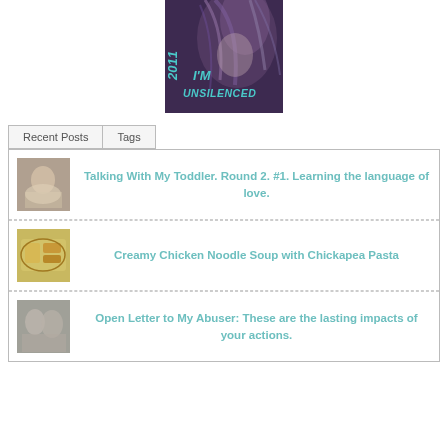[Figure (illustration): Banner image with dark purple background and a person with windswept hair. Teal text reads '2011 I'M UNSILENCED']
Recent Posts | Tags
Talking With My Toddler. Round 2. #1. Learning the language of love.
Creamy Chicken Noodle Soup with Chickapea Pasta
Open Letter to My Abuser: These are the lasting impacts of your actions.